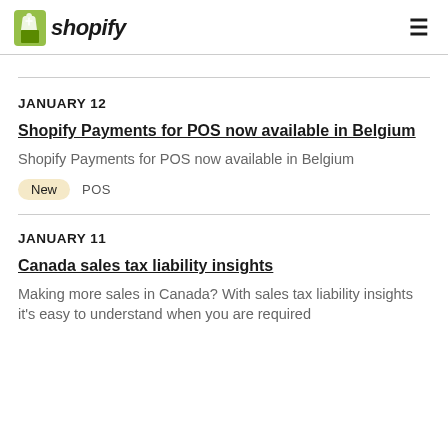shopify
JANUARY 12
Shopify Payments for POS now available in Belgium
Shopify Payments for POS now available in Belgium
New   POS
JANUARY 11
Canada sales tax liability insights
Making more sales in Canada? With sales tax liability insights it's easy to understand when you are required to collect tax from...